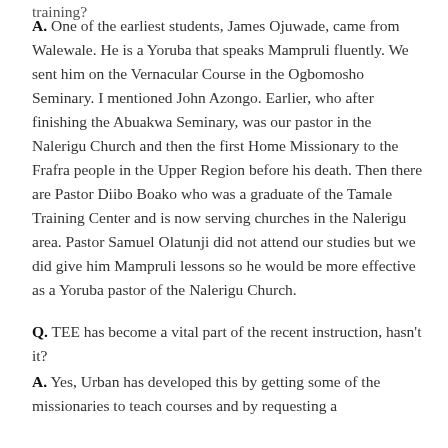training?
A. One of the earliest students, James Ojuwade, came from Walewale. He is a Yoruba that speaks Mampruli fluently. We sent him on the Vernacular Course in the Ogbomosho Seminary. I mentioned John Azongo. Earlier, who after finishing the Abuakwa Seminary, was our pastor in the Nalerigu Church and then the first Home Missionary to the Frafra people in the Upper Region before his death. Then there are Pastor Diibo Boako who was a graduate of the Tamale Training Center and is now serving churches in the Nalerigu area. Pastor Samuel Olatunji did not attend our studies but we did give him Mampruli lessons so he would be more effective as a Yoruba pastor of the Nalerigu Church.
Q. TEE has become a vital part of the recent instruction, hasn't it?
A. Yes, Urban has developed this by getting some of the missionaries to teach courses and by requesting a